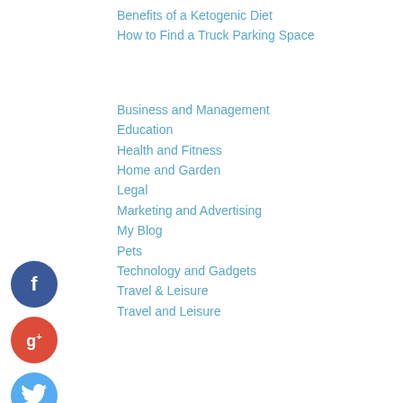Benefits of a Ketogenic Diet
How to Find a Truck Parking Space
Business and Management
Education
Health and Fitness
Home and Garden
Legal
Marketing and Advertising
My Blog
Pets
Technology and Gadgets
Travel & Leisure
Travel and Leisure
[Figure (infographic): Social media icons: Facebook (blue circle with f), Google+ (red circle with g+), Twitter (light blue circle with bird), Plus (dark navy circle with +)]
August 2022
July 2022
June 2022
May 2022